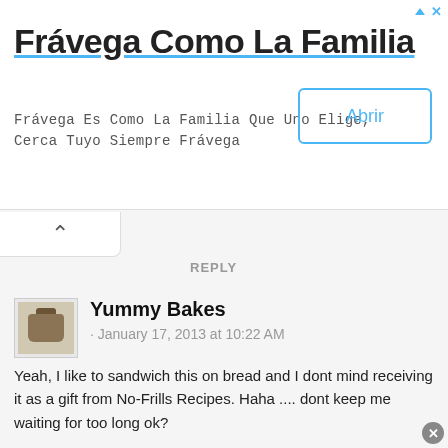[Figure (screenshot): Advertisement banner for Frávega Como La Familia with title, subtitle text, and Abrir button]
REPLY
[Figure (illustration): Small thumbnail avatar showing a cooking pot]
Yummy Bakes
· January 17, 2013 at 10:22 AM
Yeah, I like to sandwich this on bread and I dont mind receiving it as a gift from No-Frills Recipes. Haha .... dont keep me waiting for too long ok?
[Figure (logo): Orange circle Blogger avatar icon]
Sokehah cheah
· January 17, 2013 at 11:53 PM
I guess you'll have to wait, Chris!
REPLY